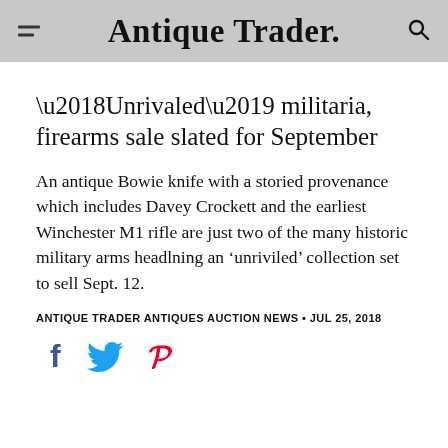Antique Trader
‘Unrivaled’ militaria, firearms sale slated for September
An antique Bowie knife with a storied provenance which includes Davey Crockett and the earliest Winchester M1 rifle are just two of the many historic military arms headlning an ‘unriviled’ collection set to sell Sept. 12.
ANTIQUE TRADER ANTIQUES AUCTION NEWS • JUL 25, 2018
[Figure (other): Social sharing icons: Facebook (f), Twitter (bird), Pinterest (p)]